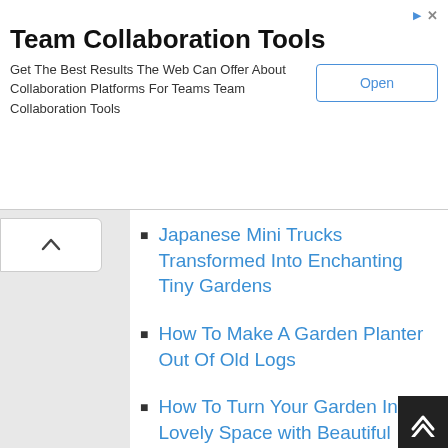[Figure (screenshot): Advertisement banner for Team Collaboration Tools with an Open button]
Team Collaboration Tools
Get The Best Results The Web Can Offer About Collaboration Platforms For Teams Team Collaboration Tools
Japanese Mini Trucks Transformed Into Enchanting Tiny Gardens
How To Make A Garden Planter Out Of Old Logs
How To Turn Your Garden Into Lovely Space with Beautiful Waterfall Aquarium
Yummy Focaccia Bread Recipe
Artist Turns Silverware And Scrap Metal Into Awesome Animal Sculptures
How To Make A Coffee Pot Terrarium
Charming DIY Clay Pot Horses